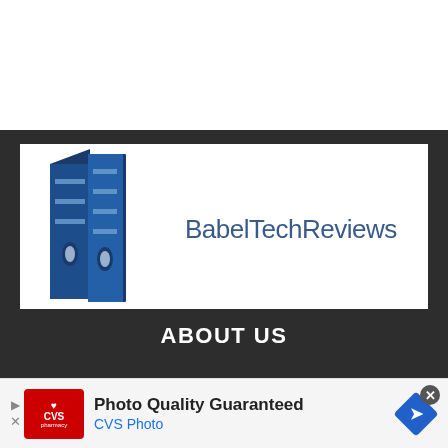[Figure (logo): BabelTechReviews logo: two dark blue server tower illustrations on the left, with 'BabelTechReviews' text in dark blue-gray on the right]
ABOUT US
[Figure (infographic): Advertisement banner: CVS Pharmacy logo (red box with heart and CVS pharmacy text), 'Photo Quality Guaranteed' heading in black bold, 'CVS Photo' subtitle in blue, navigation arrow diamond icon on right. Close button (X) in dark circle at top right.]